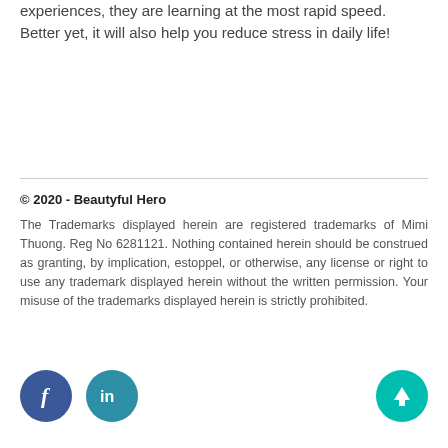When children are enjoying the emotional experiences, they are learning at the most rapid speed. Better yet, it will also help you reduce stress in daily life!
© 2020 - Beautyful Hero
The Trademarks displayed herein are registered trademarks of Mimi Thuong. Reg No 6281121. Nothing contained herein should be construed as granting, by implication, estoppel, or otherwise, any license or right to use any trademark displayed herein without the written permission. Your misuse of the trademarks displayed herein is strictly prohibited.
[Figure (illustration): Social media icons: Facebook (blue circle with f), LinkedIn (teal circle with in), and an upward arrow button (teal circle with up arrow)]